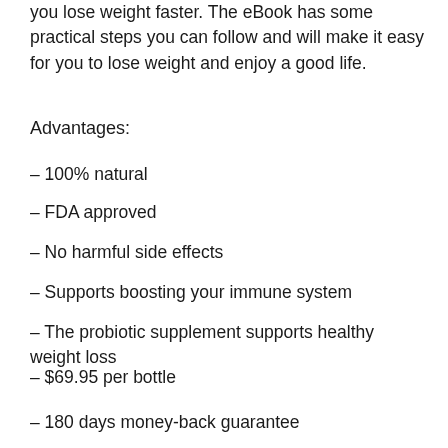you lose weight faster. The eBook has some practical steps you can follow and will make it easy for you to lose weight and enjoy a good life.
Advantages:
– 100% natural
– FDA approved
– No harmful side effects
– Supports boosting your immune system
– The probiotic supplement supports healthy weight loss
– $69.95 per bottle
– 180 days money-back guarantee